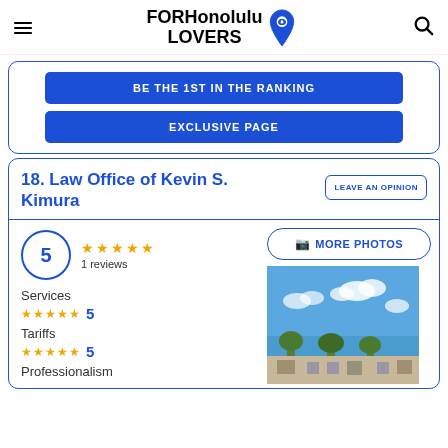FORHonolulu LOVERS
BE THE 1ST IN THE RANKING
EXCLUSIVE PAGE
18. Law Office of Kevin S. Kimura
LEAVE AN OPINION
5 — 1 reviews
MORE PHOTOS
Services
5
Tariffs
5
[Figure (photo): Sky and trees photo]
Professionalism